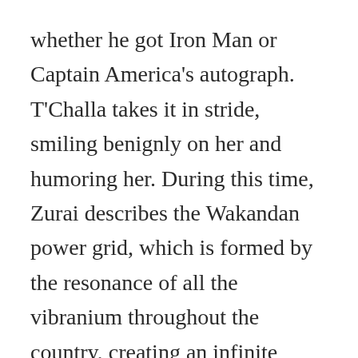whether he got Iron Man or Captain America's autograph. T'Challa takes it in stride, smiling benignly on her and humoring her. During this time, Zurai describes the Wakandan power grid, which is formed by the resonance of all the vibranium throughout the country, creating an infinite supply of energy.
As T'Challa leaves, we see Nakia gazing longingly after him, only for her father